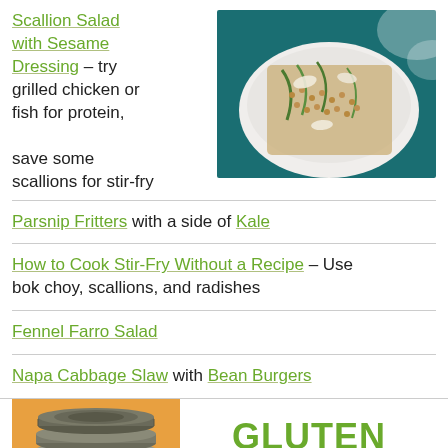Scallion Salad with Sesame Dressing – try grilled chicken or fish for protein, save some scallions for stir-fry
[Figure (photo): A white bowl containing a grain salad with green vegetables, scallions, and shaved cheese on a teal patterned background]
Parsnip Fritters with a side of Kale
How to Cook Stir-Fry Without a Recipe – Use bok choy, scallions, and radishes
Fennel Farro Salad
Napa Cabbage Slaw with Bean Burgers
[Figure (photo): Mason jar lids stacked on an orange background]
GLUTEN